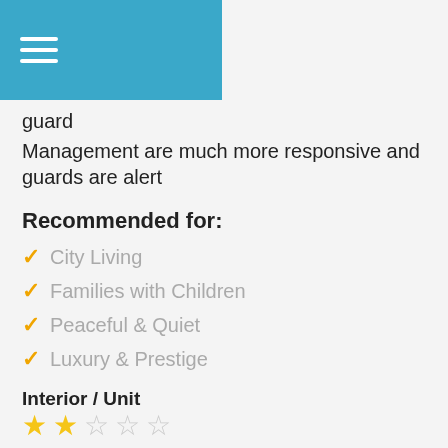[Figure (other): Blue header bar with hamburger menu icon (three white horizontal lines)]
guard
Management are much more responsive and guards are alert
Recommended for:
City Living
Families with Children
Peaceful & Quiet
Luxury & Prestige
Interior / Unit — 2 out of 5 stars
Exterior / Facilities — 5 out of 5 stars
Accessibility / Transport — 5 out of 5 stars
Nearby Amenities — 5 out of 5 stars
Value for Money — 5 out of 5 stars